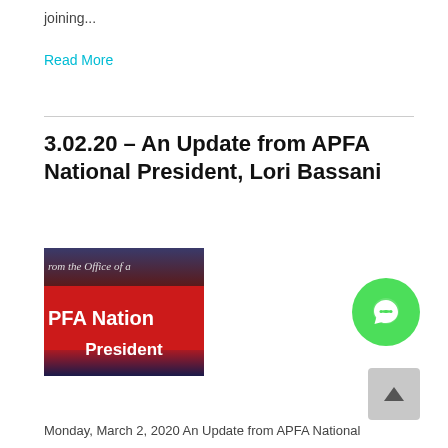joining...
Read More
3.02.20 – An Update from APFA National President, Lori Bassani
[Figure (photo): Banner image showing text 'from the Office of a' in script style at top, then a red bar with 'PFA Nation' in bold white text, and 'President' in bold white text below, on a dark blue/red background.]
[Figure (illustration): Green circular chat bubble icon button on the right side of the page.]
[Figure (illustration): Grey rounded square scroll-to-top button with upward chevron arrow in bottom right corner.]
Monday, March 2, 2020 An Update from APFA National